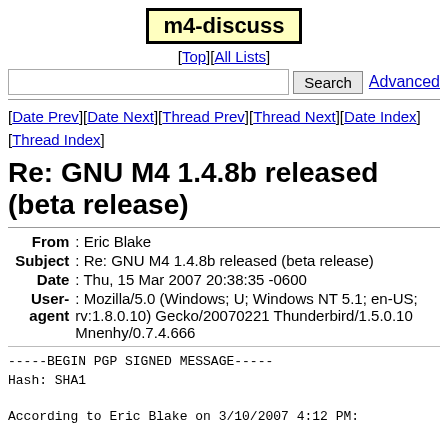m4-discuss
[Top][All Lists]
Search  Advanced
[Date Prev][Date Next][Thread Prev][Thread Next][Date Index][Thread Index]
Re: GNU M4 1.4.8b released (beta release)
| Field | Value |
| --- | --- |
| From | Eric Blake |
| Subject | Re: GNU M4 1.4.8b released (beta release) |
| Date | Thu, 15 Mar 2007 20:38:35 -0600 |
| User-agent | Mozilla/5.0 (Windows; U; Windows NT 5.1; en-US; rv:1.8.0.10) Gecko/20070221 Thunderbird/1.5.0.10 Mnenhy/0.7.4.666 |
-----BEGIN PGP SIGNED MESSAGE-----
Hash: SHA1

According to Eric Blake on 3/10/2007 4:12 PM: